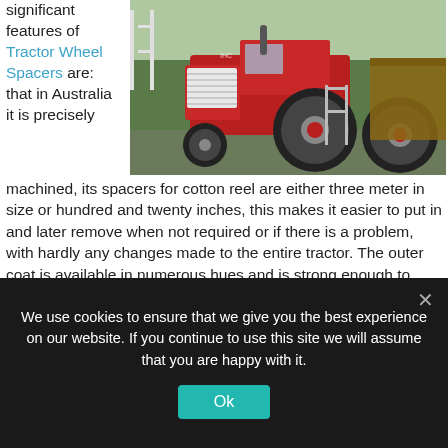significant features of Tractor Wheel Spacers are: that in Australia it is precisely machined, its spacers for cotton reel are either three meter in size or hundred and twenty inches, this makes it easier to put in and later remove when not required or if there is a problem, with hardly any changes made to the entire tractor. The outer coat is available in numerous hues and is strong enough to stand against the trials of tome.  Although the size available to purchase is three meter in size, but for all those customers who want a custom made, need not to worry as this service is also being provided.
[Figure (photo): A red vintage tractor parked outdoors near a fence and green grass, with large rear wheels and a metal grille front.]
We use cookies to ensure that we give you the best experience on our website. If you continue to use this site we will assume that you are happy with it.